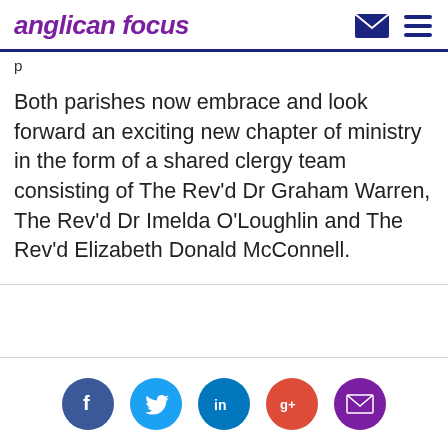anglican focus
Both parishes now embrace and look forward an exciting new chapter of ministry in the form of a shared clergy team consisting of The Rev'd Dr Graham Warren, The Rev'd Dr Imelda O'Loughlin and The Rev'd Elizabeth Donald McConnell.
[Figure (infographic): Social sharing icons row: Facebook (blue circle with f), Twitter (light blue circle with bird), LinkedIn (teal circle with in), Google+ (red-orange circle with g+), Email (purple circle with envelope)]
Topics